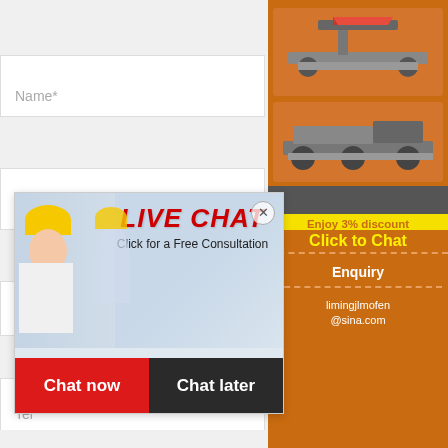[Figure (screenshot): Web form with fields: Name*, E-mail*, Country, Tel, Messenger. A live chat popup overlay shows workers in hard hats, 'LIVE CHAT' heading, 'Click for a Free Consultation', 'Chat now' and 'Chat later' buttons. Orange sidebar with machinery images, discount bar 'Enjoy 3% discount / Click to Chat', Enquiry section and email limingjlmofen@sina.com]
Name*
E-mail*
Cou
Tel
Messenger
LIVE CHAT
Click for a Free Consultation
Chat now
Chat later
Enjoy 3% discount
Click to Chat
Enquiry
limingjlmofen@sina.com